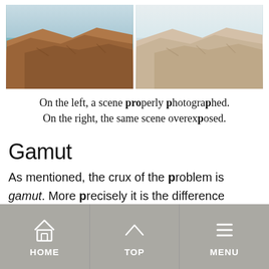[Figure (photo): Two side-by-side coastal rock photos: left shows properly exposed scene with teal water and reddish-brown rocks; right shows same scene overexposed with washed-out colors.]
On the left, a scene properly photographed. On the right, the same scene overexposed.
Gamut
As mentioned, the crux of the problem is gamut. More precisely it is the difference between three distinct gamuts:
1. Nature's gamut (or the gamut our
HOME   TOP   MENU